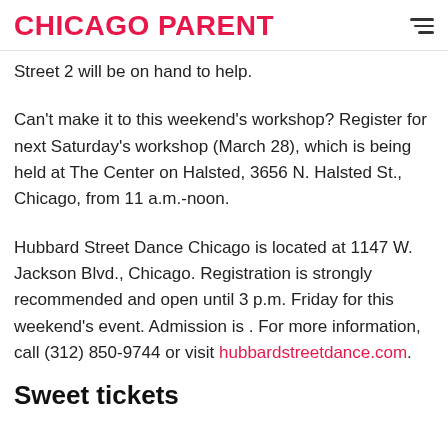CHICAGO PARENT
Street 2 will be on hand to help.
Can't make it to this weekend's workshop? Register for next Saturday's workshop (March 28), which is being held at The Center on Halsted, 3656 N. Halsted St., Chicago, from 11 a.m.-noon.
Hubbard Street Dance Chicago is located at 1147 W. Jackson Blvd., Chicago. Registration is strongly recommended and open until 3 p.m. Friday for this weekend's event. Admission is . For more information, call (312) 850-9744 or visit hubbardstreetdance.com.
Sweet tickets